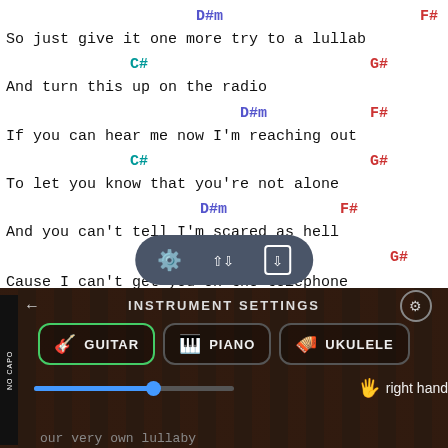D#m   F#
So just give it one more try to a lullab
C#   G#
And turn this up on the radio
D#m   F#
If you can hear me now I'm reaching out
C#   G#
To let you know that you're not alone
D#m   F#
And you can't tell I'm scared as hell
C#   G#
Cause I can't get you on the telephone
G#
chord | pronouncation
INSTRUMENT SETTINGS
GUITAR   PIANO   UKULELE
right hand
our very own lullaby